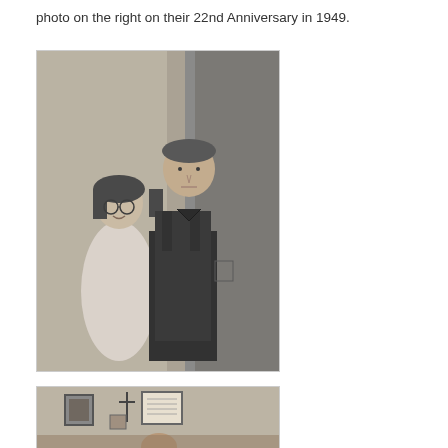photo on the right on their 22nd Anniversary in 1949.
[Figure (photo): Black and white photograph of a woman and a man standing together outdoors against a textured wall. The woman is shorter, wearing glasses and a light dress with a bob haircut. The man is taller, wearing dark overalls.]
[Figure (photo): Black and white interior photograph showing framed pictures hanging on a wallpapered wall, with a partial view of a person at the bottom.]